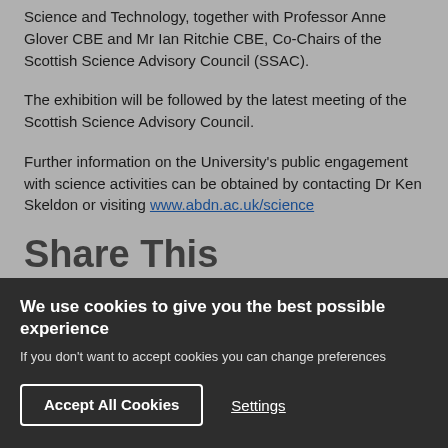Science and Technology, together with Professor Anne Glover CBE and Mr Ian Ritchie CBE, Co-Chairs of the Scottish Science Advisory Council (SSAC).
The exhibition will be followed by the latest meeting of the Scottish Science Advisory Council.
Further information on the University's public engagement with science activities can be obtained by contacting Dr Ken Skeldon or visiting www.abdn.ac.uk/science
Share This
We use cookies to give you the best possible experience
If you don't want to accept cookies you can change preferences